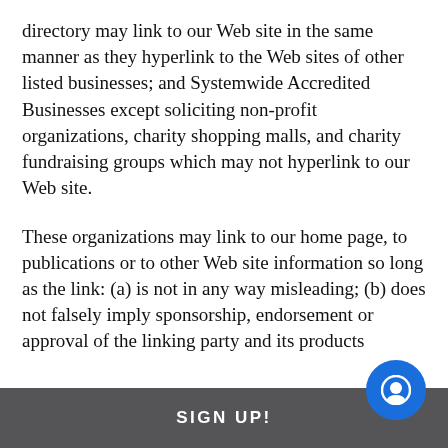directory may link to our Web site in the same manner as they hyperlink to the Web sites of other listed businesses; and Systemwide Accredited Businesses except soliciting non-profit organizations, charity shopping malls, and charity fundraising groups which may not hyperlink to our Web site.
These organizations may link to our home page, to publications or to other Web site information so long as the link: (a) is not in any way misleading; (b) does not falsely imply sponsorship, endorsement or approval of the linking party and its products
SIGN UP!